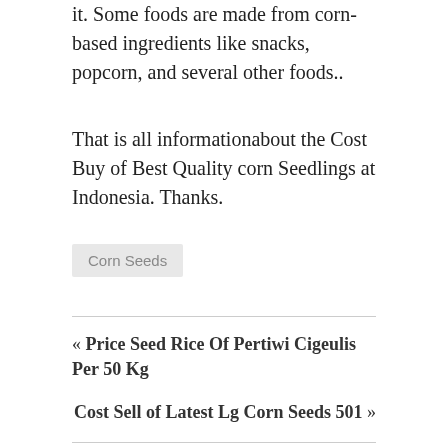it. Some foods are made from corn-based ingredients like snacks, popcorn, and several other foods..
That is all informationabout the Cost Buy of Best Quality corn Seedlings at Indonesia. Thanks.
Corn Seeds
« Price Seed Rice Of Pertiwi Cigeulis Per 50 Kg
Cost Sell of Latest Lg Corn Seeds 501 »